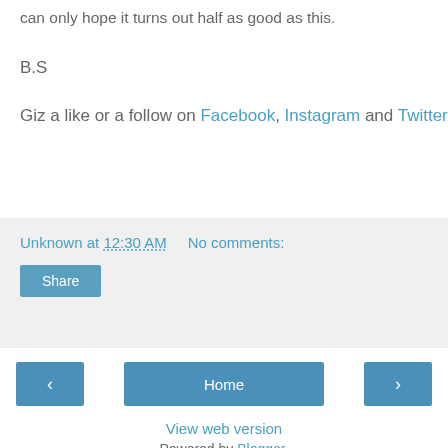can only hope it turns out half as good as this.
B.S
Giz a like or a follow on Facebook, Instagram and Twitter
Unknown at 12:30 AM   No comments:
Share
‹
Home
›
View web version
Powered by Blogger.